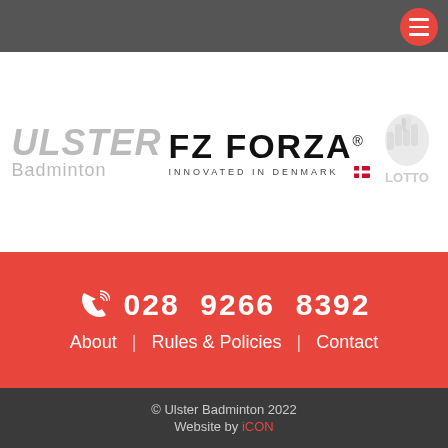Ulster Badminton – navigation header bar
[Figure (logo): Ulster Badminton logo – grey stylised text 'ULSTER' and 'Badminton']
[Figure (logo): FZ FORZA logo – black bold text 'FZ FORZA®' with tagline 'INNOVATED IN DENMARK' and Danish flag icon]
[Figure (logo): National Lottery logo – grey stylised hand with crossed fingers and text 'LOTTO']
028 9266 8392
About  |  Rules & Policies  |  Contact
© Ulster Badminton 2022  Website by iCON